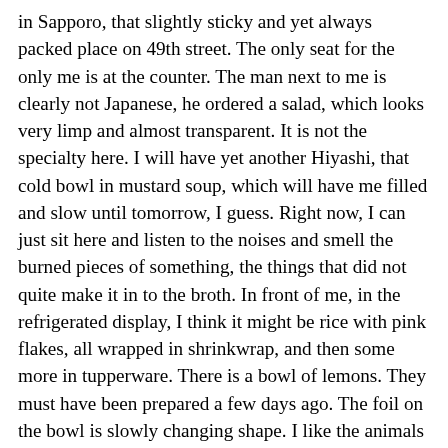in Sapporo, that slightly sticky and yet always packed place on 49th street. The only seat for the only me is at the counter. The man next to me is clearly not Japanese, he ordered a salad, which looks very limp and almost transparent. It is not the specialty here. I will have yet another Hiyashi, that cold bowl in mustard soup, which will have me filled and slow until tomorrow, I guess. Right now, I can just sit here and listen to the noises and smell the burned pieces of something, the things that did not quite make it in to the broth. In front of me, in the refrigerated display, I think it might be rice with pink flakes, all wrapped in shrinkwrap, and then some more in tupperware. There is a bowl of lemons. They must have been prepared a few days ago. The foil on the bowl is slowly changing shape. I like the animals most. To my right there is a little family of small animals. A grassing horse, almost completely stripped of its original paint, lays on its side and guards a pile of paper napkins... He is the chosen one, observed by three other animals, similar in size, yet not quite as ideal for this particular job. The glass elephant is probably least suited. The little blue guy would probably just break if a hand reached out for him to allow two of its fingers to grab one of the napkins. The horse is a perfect one for this job. Hiyashi chukka arrives, it looks like a mess, like leftovers, artfully prepared to please the various senses. I fold the keyboard and put the palm into my chest pocket. This is where it starts to vibrate, almost immediately. I do not let it make any sounds. At least no alarm sounds. It vibrates three times. I have 15